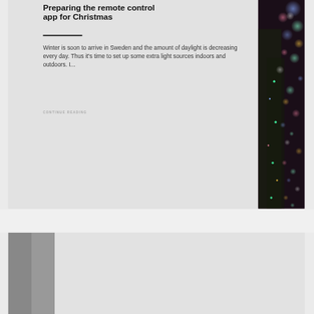Preparing the remote control app for Christmas
Winter is soon to arrive in Sweden and the amount of daylight is decreasing every day. Thus it's time to set up some extra light sources indoors and outdoors. I...
CONTINUE READING
[Figure (photo): Photo of Christmas lights on a tree at night, dark background with colorful bokeh lights]
Local LAN
[Figure (photo): Partial thumbnail image, grey/dark]
26 OCTOBER, 2016
[Figure (logo): RaspberryPi logo/text in pink]